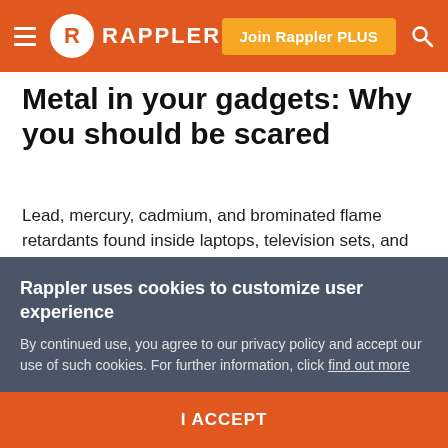Rappler — Join Rappler PLUS
Metal in your gadgets: Why you should be scared
Lead, mercury, cadmium, and brominated flame retardants found inside laptops, television sets, and smart phones present health threats
Pia Ranada @piaranada
Published 6:13 PM, March 27, 2014
Updated 7:30 PM, April 01, 2014
Rappler uses cookies to customize user experience
By continued use, you agree to our privacy policy and accept our use of such cookies. For further information, click find out more
I ACCEPT